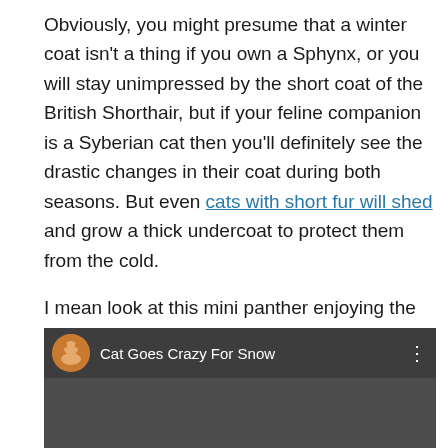Obviously, you might presume that a winter coat isn't a thing if you own a Sphynx, or you will stay unimpressed by the short coat of the British Shorthair, but if your feline companion is a Syberian cat then you'll definitely see the drastic changes in their coat during both seasons. But even cats with short fur will shed and grow a thick undercoat to protect them from the cold.
I mean look at this mini panther enjoying the snow. I'm sure he has a proper winter coat underneath to protect him!
[Figure (screenshot): Embedded video thumbnail with black background showing a cat thumbnail icon and title 'Cat Goes Crazy For Snow' with a three-dot menu icon.]